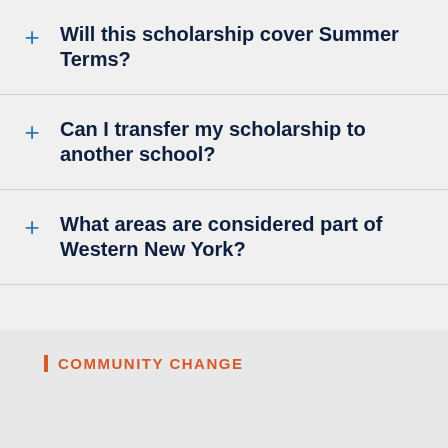Will this scholarship cover Summer Terms?
Can I transfer my scholarship to another school?
What areas are considered part of Western New York?
COMMUNITY CHANGE